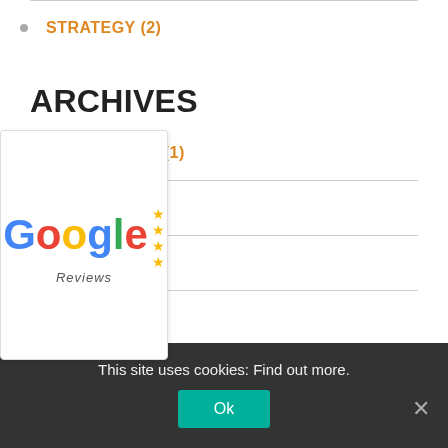STRATEGY (2)
ARCHIVES
AUGUST 2022 (1)
JULY 2022 (1)
2022 (1)
2022 (1)
[Figure (logo): Google Reviews badge with star ratings]
This site uses cookies: Find out more.